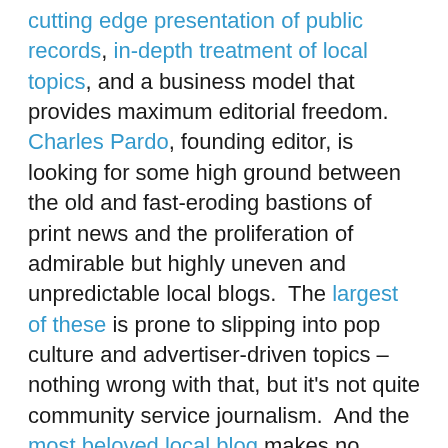cutting edge presentation of public records, in-depth treatment of local topics, and a business model that provides maximum editorial freedom. Charles Pardo, founding editor, is looking for some high ground between the old and fast-eroding bastions of print news and the proliferation of admirable but highly uneven and unpredictable local blogs. The largest of these is prone to slipping into pop culture and advertiser-driven topics – nothing wrong with that, but it's not quite community service journalism. And the most beloved local blog makes no pretense of presenting anything other than exactly what they feel like – or have photographed the night before! The Raleigh Public Record wants to use the blog forum to develop a juried and professional venue for high quality news. Their fundraiser attracted a strong showing of journalists and intelligentsia, well described at